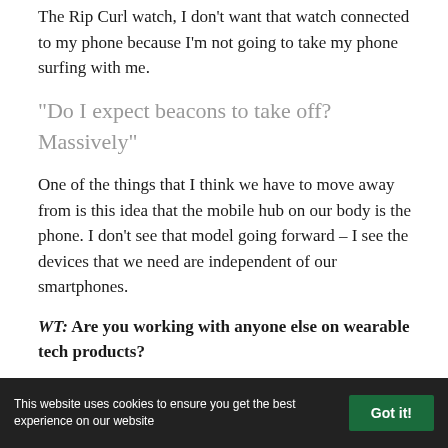The Rip Curl watch, I don't want that watch connected to my phone because I'm not going to take my phone surfing with me.
“Do I expect beacons to take off? Massively”
One of the things that I think we have to move away from is this idea that the mobile hub on our body is the phone. I don’t see that model going forward – I see the devices that we need are independent of our smartphones.
WT: Are you working with anyone else on wearable tech products?
NB: The answer there is ‘there’s a lot potentially bubbling’. Rip Curl are very leading edge in how
This website uses cookies to ensure you get the best experience on our website   Got it!